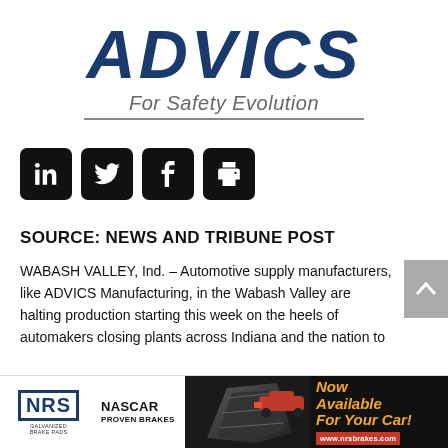[Figure (logo): ADVICS logo with 'For Safety Evolution' tagline in italic gray text with underline]
[Figure (infographic): Four black rounded square social media buttons: LinkedIn, Twitter, Facebook, and Print]
SOURCE: NEWS AND TRIBUNE POST
WABASH VALLEY, Ind. – Automotive supply manufacturers, like ADVICS Manufacturing, in the Wabash Valley are halting production starting this week on the heels of automakers closing plants across Indiana and the nation to
[Figure (advertisement): NRS Galvanized Brake Pads advertisement featuring NASCAR Proven Brakes, brake pad image, and text 'Now Available For Your Car!' with www.nrsbrakes.com]